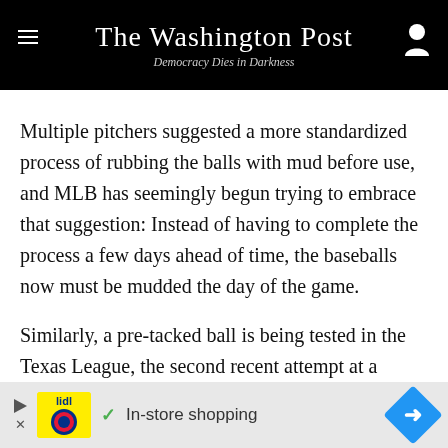The Washington Post — Democracy Dies in Darkness
Multiple pitchers suggested a more standardized process of rubbing the balls with mud before use, and MLB has seemingly begun trying to embrace that suggestion: Instead of having to complete the process a few days ahead of time, the baseballs now must be mudded the day of the game.
Similarly, a pre-tacked ball is being tested in the Texas League, the second recent attempt at a prototype to help meet pitchers halfway. If that ball is well reviewed and big leaguers decide they like it, too, it could arrive as
[Figure (other): Lidl advertisement banner: In-store shopping with play button, Lidl logo, checkmark, and blue diamond arrow]